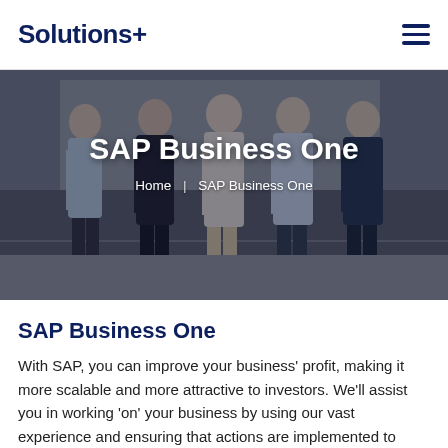Solutions+
[Figure (photo): Hero image showing a group of business professionals standing together, overlaid with dark semi-transparent gradient. Text overlay reads 'SAP Business One' with breadcrumb 'Home | SAP Business One'.]
SAP Business One
Home | SAP Business One
SAP Business One
With SAP, you can improve your business' profit, making it more scalable and more attractive to investors. We'll assist you in working 'on' your business by using our vast experience and ensuring that actions are implemented to